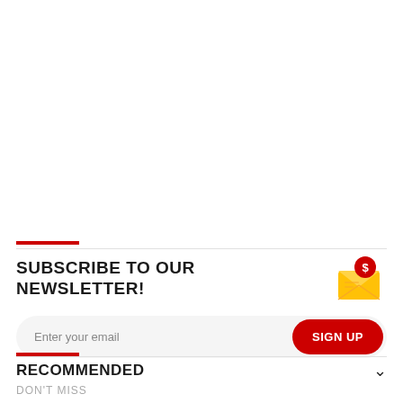SUBSCRIBE TO OUR NEWSLETTER!
Enter your email
SIGN UP
RECOMMENDED
DON'T MISS